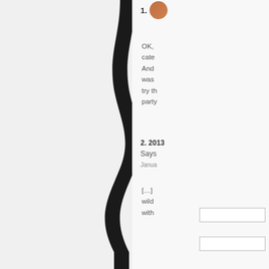[Figure (illustration): A thick curved black vertical line dividing the page, resembling a wavy divider]
1. [avatar photo] OK, cate And was try th party
2. 2013 Says January [...] wild with